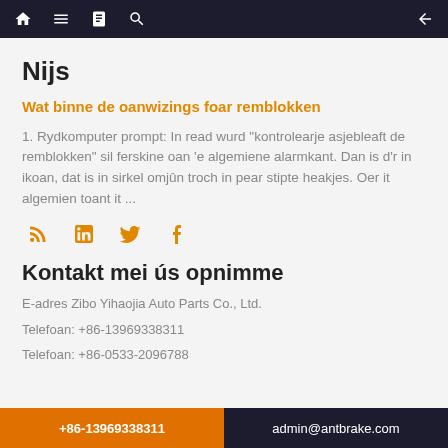Navigation bar with home, menu, book, search, and back icons
Nijs
Wat binne de oanwizings foar remblokken
1. Rydkomputer prompt: In read wurd "kontrolearje asjebleaft de remblokken" sil ferskine oan 'e algemiene alarmkant. Dan is d'r in ikoan, dat is in sirkel omjûn troch in pear stipte heakjes. Oer it algemien toant it ...
[Figure (illustration): Social media icons row: RSS feed, LinkedIn, Twitter, Facebook in orange color]
Kontakt mei ús opnimme
E-adres Zibo Yihaojia Auto Parts Co., Ltd.
Telefoan: +86-13969338311
Telefoan: +86-0533-2096788
+86-13969338311    admin@antbrake.com